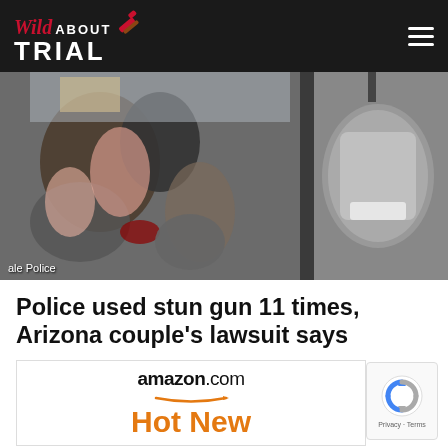Wild About Trial
[Figure (photo): Video still from dashcam or security camera footage showing people inside a car with an open door, labeled 'ale Police' in the lower left corner]
Police used stun gun 11 times, Arizona couple’s lawsuit says
[Figure (other): Amazon.com advertisement showing 'Hot New' text in orange with Amazon arrow logo]
[Figure (other): Google reCAPTCHA badge with Privacy and Terms links]